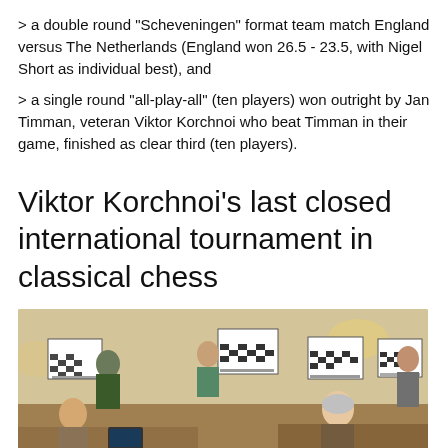> a double round "Scheveningen" format team match England versus The Netherlands (England won 26.5 - 23.5, with Nigel Short as individual best), and
> a single round "all-play-all" (ten players) won outright by Jan Timman, veteran Viktor Korchnoi who beat Timman in their game, finished as clear third (ten players).
Viktor Korchnoi's last closed international tournament in classical chess
[Figure (photo): Indoor chess tournament scene showing players seated at tables with chess boards displayed on stands in the background, in a warmly lit room.]